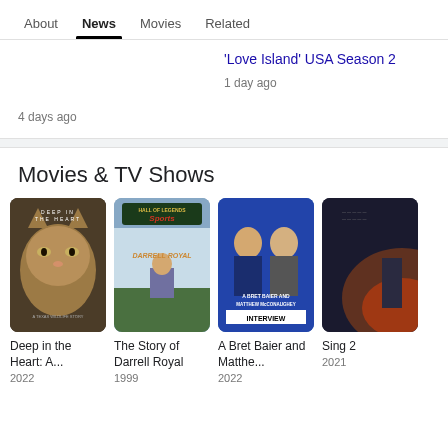About | News | Movies | Related
'Love Island' USA Season 2
4 days ago
1 day ago
Movies & TV Shows
[Figure (photo): Movie poster: Deep in the Heart - cougar close-up]
Deep in the Heart: A...
2022
[Figure (photo): Movie poster: The Story of Darrell Royal - Hall of Legends Sports]
The Story of Darrell Royal
1999
[Figure (photo): Movie poster: A Bret Baier and Matthew McConaughey Interview]
A Bret Baier and Matthe...
2022
[Figure (photo): Movie poster: Sing 2 - partial view]
Sing 2
2021